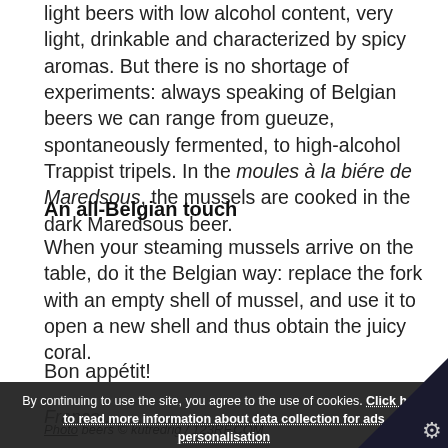light beers with low alcohol content, very light, drinkable and characterized by spicy aromas. But there is no shortage of experiments: always speaking of Belgian beers we can range from gueuze, spontaneously fermented, to high-alcohol Trappist tripels. In the moules à la biére de Maredsous, the mussels are cooked in the dark Maredsous beer.
An all-Belgian touch
When your steaming mussels arrive on the table, do it the Belgian way: replace the fork with an empty shell of mussel, and use it to open a new shell and thus obtain the juicy coral.
Bon appétit!
France...
By continuing to use the site, you agree to the use of cookies. Click here to read more information about data collection for ads personalisation
Photo beers © kutredrig / 123RF.COM